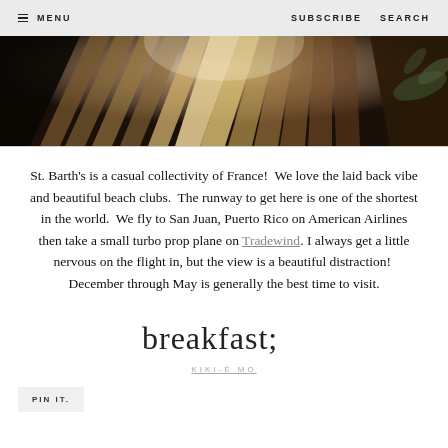≡ MENU   SUBSCRIBE   SEARCH
[Figure (photo): Overhead or angled view of wooden deck planks with warm tones, light glare in center, dark edges, plant visible on right]
St. Barth's is a casual collectivity of France!  We love the laid back vibe and beautiful beach clubs.  The runway to get here is one of the shortest in the world.  We fly to San Juan, Puerto Rico on American Airlines then take a small turbo prop plane on Tradewind. I always get a little nervous on the flight in, but the view is a beautiful distraction!  December through May is generally the best time to visit.
[Figure (illustration): Handwritten cursive script signature reading 'breakfast;']
KIKI-É MO